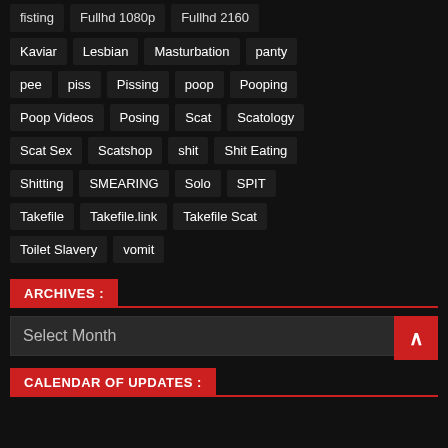fisting | Fullhd 1080p | Fullhd 2160 (partial/cropped at top)
Kaviar | Lesbian | Masturbation | panty
pee | piss | Pissing | poop | Pooping
Poop Videos | Posing | Scat | Scatology
Scat Sex | Scatshop | shit | Shit Eating
Shitting | SMEARING | Solo | SPIT
Takefile | Takefile.link | Takefile Scat
Toilet Slavery | vomit
ARCHIVES :
Select Month
CALENDAR OF UPDATES :